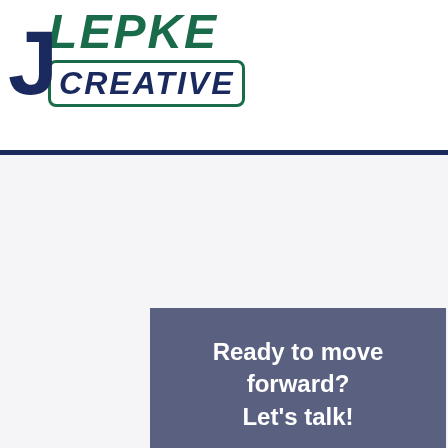[Figure (logo): J Lepke Creative logo with large dark navy J, italic teal LEPKE text, and CREATIVE in a rounded border box]
Ready to move forward? Let's talk!